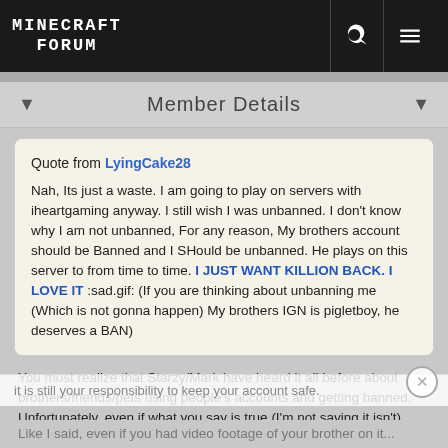MINECRAFT FORUM
Member Details
Quote from LyingCake28

Nah, Its just a waste. I am going to play on servers with iheartgaming anyway. I still wish I was unbanned. I don't know why I am not unbanned, For any reason, My brothers account should be Banned and I SHould be unbanned. He plays on this server to from time to time. I JUST WANT KILLION BACK. I LOVE IT :sad.gif: (If you are thinking about unbanning me (Which is not gonna happen) My brothers IGN is pigletboy, he deserves a BAN)
You must realize that Starzy/Mark have heard it all before about brothers/friends/pets using people's accounts and getting banned. Unfortunately, even if what you say is true (I'm not saying it isn't),
it is still your responsibility to keep your account safe.
Like I said, even if you had video footage of your brother on it...